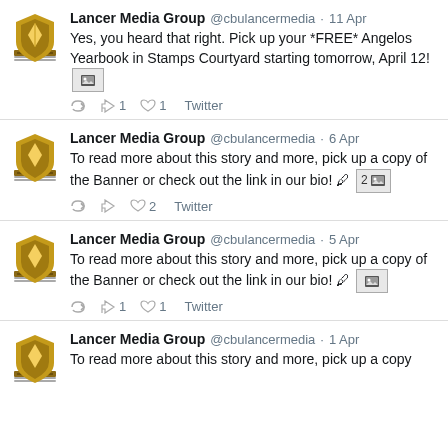Lancer Media Group @cbulancermedia · 11 Apr
Yes, you heard that right. Pick up your *FREE* Angelos Yearbook in Stamps Courtyard starting tomorrow, April 12!
↩ ↺1 ♥1 Twitter
Lancer Media Group @cbulancermedia · 6 Apr
To read more about this story and more, pick up a copy of the Banner or check out the link in our bio! 🖊 2
↩ ↺ ♥2 Twitter
Lancer Media Group @cbulancermedia · 5 Apr
To read more about this story and more, pick up a copy of the Banner or check out the link in our bio! 🖊
↩ ↺1 ♥1 Twitter
Lancer Media Group @cbulancermedia · 1 Apr
To read more about this story and more, pick up a copy